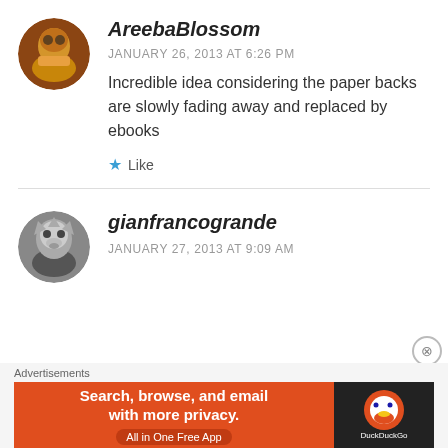[Figure (photo): Circular avatar of AreebaBlossom — woman with colorful attire]
AreebaBlossom
JANUARY 26, 2013 AT 6:26 PM
Incredible idea considering the paper backs are slowly fading away and replaced by ebooks
★ Like
[Figure (photo): Circular avatar of gianfrancogrande — wolf photo]
gianfrancogrande
JANUARY 27, 2013 AT 9:09 AM
Advertisements
[Figure (other): DuckDuckGo advertisement banner: Search, browse, and email with more privacy. All in One Free App]